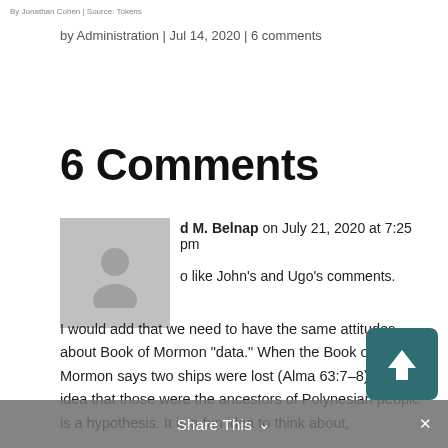By Jonathan Cohen | Source: Tokens
by Administration | Jul 14, 2020 | 6 comments
6 Comments
[Figure (illustration): Gray avatar placeholder image showing silhouette of a person]
d M. Belnap on July 21, 2020 at 7:25 pm
o like John's and Ugo's comments.
I would add that we need to have the same attitudes about Book of Mormon “data.” When the Book of Mormon says two ships were lost (Alma 63:7–8), the idea that those were the ancestors of Polynesian people is a hypothesis. It is a fun idea to think about,
Share This ∨ ×